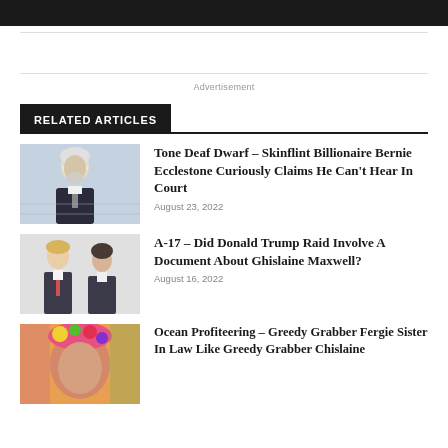Advertisement
RELATED ARTICLES
[Figure (illustration): Courtroom sketch of an elderly white-haired man in a dark suit, seated]
Tone Deaf Dwarf – Skinflint Billionaire Bernie Ecclestone Curiously Claims He Can't Hear In Court
August 23, 2022
[Figure (photo): Photo of Donald Trump with Ghislaine Maxwell, both in formal attire]
A-17 – Did Donald Trump Raid Involve A Document About Ghislaine Maxwell?
August 16, 2022
[Figure (photo): Colorful portrait photo of a woman with floral headpiece]
Ocean Profiteering – Greedy Grabber Fergie Sister In Law Like Greedy Grabber Chislaine